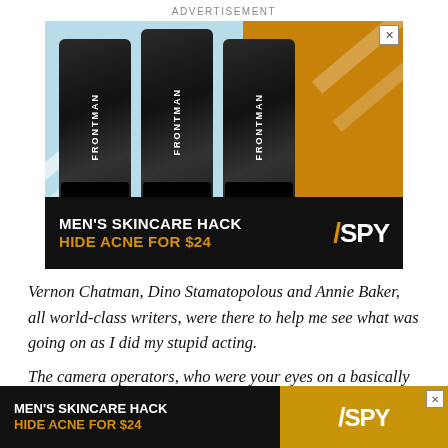ADVERTISEMENT
[Figure (photo): Advertisement for Frontman skincare product showing three black squeeze tubes against a light blue and gold background, with banner text: MEN'S SKINCARE HACK / HIDE ACNE FOR $24 and SPY logo]
Vernon Chatman, Dino Stamatopolous and Annie Baker, all world-class writers, were there to help me see what was going on as I did my stupid acting.
The camera operators, who were your eyes on a basically
[Figure (photo): Bottom sticky advertisement banner: MEN'S SKINCARE HACK / HIDE ACNE FOR $24 with SPY logo]